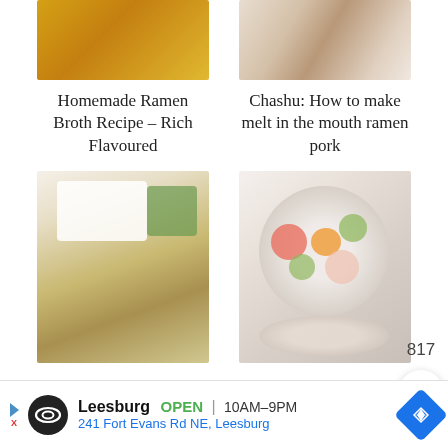[Figure (photo): Food photography — bowl of ramen broth (golden/amber colored soup), partial image cropped at top]
[Figure (photo): Food photography — sliced chashu pork on wooden surface, partial image cropped at top]
Homemade Ramen Broth Recipe – Rich Flavoured
Chashu: How to make melt in the mouth ramen pork
[Figure (photo): Food photography — plate of noodles topped with sesame/toppings, small bowl of green onions in background]
[Figure (photo): Food photography — bowl of ramen with colorful toppings including naruto, vegetables in milky broth]
817
Leesburg  OPEN  10AM–9PM  241 Fort Evans Rd NE, Leesburg